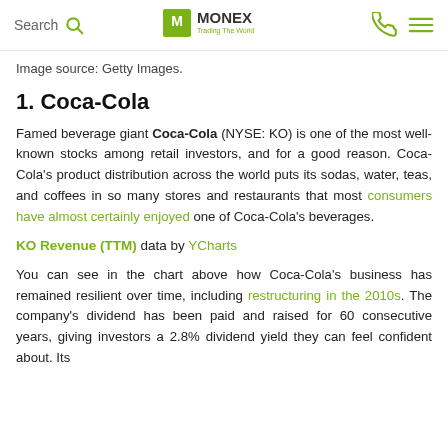Search | MONEX Trading The World
Image source: Getty Images.
1. Coca-Cola
Famed beverage giant Coca-Cola (NYSE: KO) is one of the most well-known stocks among retail investors, and for a good reason. Coca-Cola's product distribution across the world puts its sodas, water, teas, and coffees in so many stores and restaurants that most consumers have almost certainly enjoyed one of Coca-Cola's beverages.
KO Revenue (TTM) data by YCharts
You can see in the chart above how Coca-Cola's business has remained resilient over time, including restructuring in the 2010s. The company's dividend has been paid and raised for 60 consecutive years, giving investors a 2.8% dividend yield they can feel confident about. Its